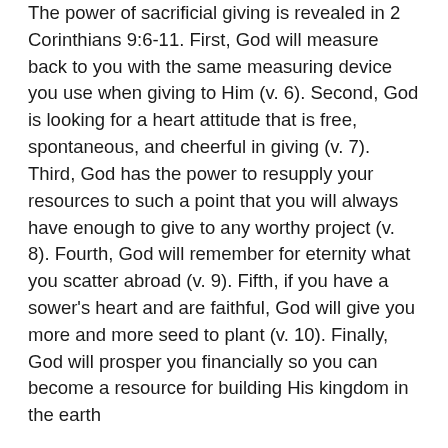The power of sacrificial giving is revealed in 2 Corinthians 9:6-11. First, God will measure back to you with the same measuring device you use when giving to Him (v. 6). Second, God is looking for a heart attitude that is free, spontaneous, and cheerful in giving (v. 7). Third, God has the power to resupply your resources to such a point that you will always have enough to give to any worthy project (v. 8). Fourth, God will remember for eternity what you scatter abroad (v. 9). Fifth, if you have a sower's heart and are faithful, God will give you more and more seed to plant (v. 10). Finally, God will prosper you financially so you can become a resource for building His kingdom in the earth

(v. 11).
How many people fail to start down God's road of blessing because they sow sparingly? Step through the gate of hilarious, generous, spontaneous giving and watch God supply you with more seed to sow than you ever dreamed possible. He is looking for channels through which He can bless the world!